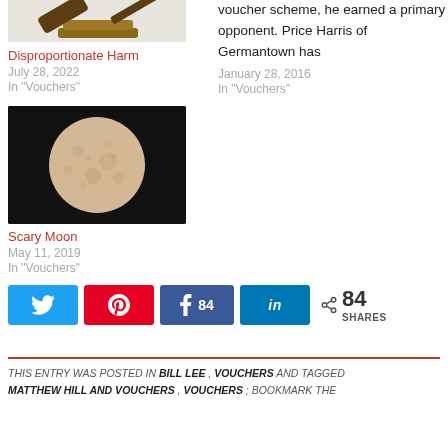[Figure (photo): Gavel/hammer image (top left, partially visible)]
Disproportionate Harm
July 28, 2022
In "Vouchers"
voucher scheme, he earned a primary opponent. Price Harris of Germantown has
January 28, 2016
In "Vouchers"
[Figure (photo): Full moon against dark sky]
Scary Moon
May 11, 2019
In "Vouchers"
[Figure (infographic): Social share buttons: Twitter, Pinterest, Facebook (84), LinkedIn, and total 84 SHARES]
THIS ENTRY WAS POSTED IN BILL LEE , VOUCHERS AND TAGGED MATTHEW HILL AND VOUCHERS , VOUCHERS ; BOOKMARK THE